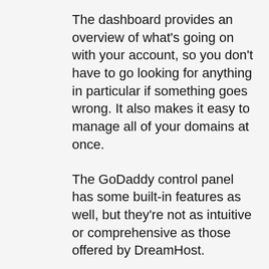The dashboard provides an overview of what's going on with your account, so you don't have to go looking for anything in particular if something goes wrong. It also makes it easy to manage all of your domains at once.
The GoDaddy control panel has some built-in features as well, but they're not as intuitive or comprehensive as those offered by DreamHost.
When you sign up with DreamHost, you'll get full control over your website with our simple web-based control panel. You can easily add and edit content, manage files and images, install new apps like WordPress or Joomla!, make backups,